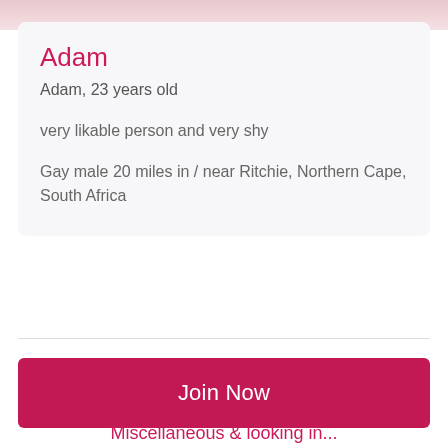[Figure (photo): Partial photo of a person visible at the top of the page]
Adam
Adam, 23 years old
very likable person and very shy
Gay male 20 miles in / near Ritchie, Northern Cape, South Africa
Join Now
Miscellaneous & looking in...